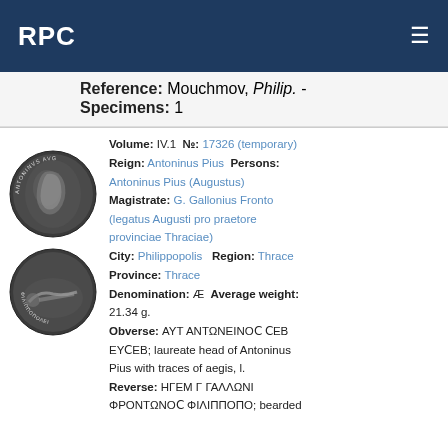RPC
Reference: Mouchmov, Philip. -
Specimens: 1
Volume: IV.1 No: 17326 (temporary)
Reign: Antoninus Pius  Persons:
Antoninus Pius (Augustus)
Magistrate: G. Gallonius Fronto (legatus Augusti pro praetore provinciae Thraciae)
City: Philippopolis  Region: Thrace
Province: Thrace
Denomination: Æ  Average weight: 21.34 g.
Obverse: ΑΥΤ ΑΝΤΩΝΕΙΝΟϹ ϹΕΒ ΕΥϹΕΒ; laureate head of Antoninus Pius with traces of aegis, l.
Reverse: ΗΓΕΜ Γ ΓΑΛΛΩΝΙ ΦΡΟΝΤΩΝΟϹ ΦΙΛΙΠΠΟΠΟ; bearded
[Figure (photo): Two ancient Roman bronze coins showing obverse (portrait of Antoninus Pius) and reverse (figure reclining) sides.]